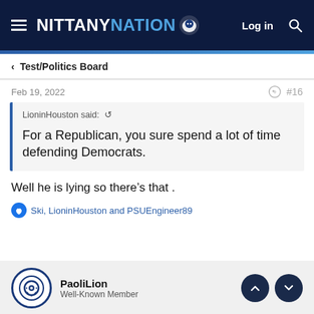NITTANY NATION — Log in
< Test/Politics Board
Feb 19, 2022 #16
LioninHouston said: ↺

For a Republican, you sure spend a lot of time defending Democrats.
Well he is lying so there's that .
Ski, LioninHouston and PSUEngineer89
PaoliLion
Well-Known Member